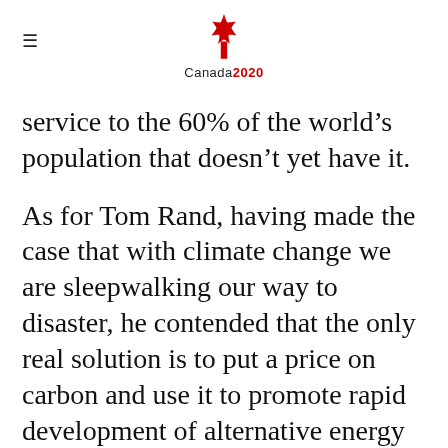Canada2020
service to the 60% of the world’s population that doesn’t yet have it.
As for Tom Rand, having made the case that with climate change we are sleepwalking our way to disaster, he contended that the only real solution is to put a price on carbon and use it to promote rapid development of alternative energy sources.